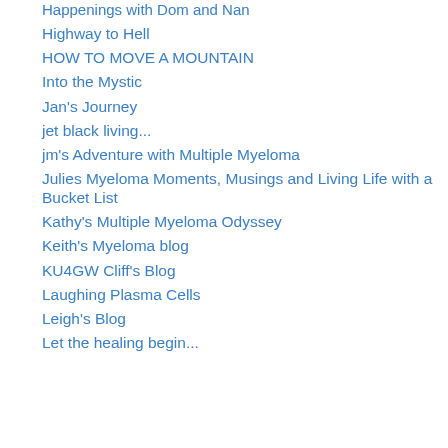Happenings with Dom and Nan
Highway to Hell
HOW TO MOVE A MOUNTAIN
Into the Mystic
Jan's Journey
jet black living...
jm's Adventure with Multiple Myeloma
Julies Myeloma Moments, Musings and Living Life with a Bucket List
Kathy's Multiple Myeloma Odyssey
Keith's Myeloma blog
KU4GW Cliff's Blog
Laughing Plasma Cells
Leigh's Blog
Let the healing begin...